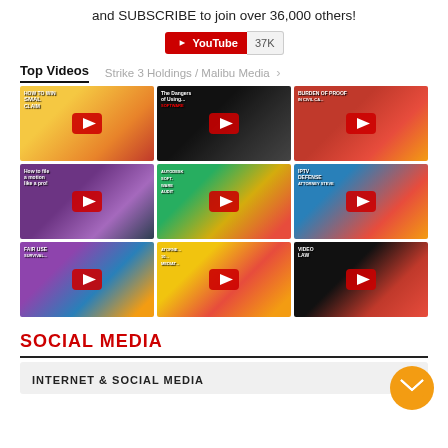and SUBSCRIBE to join over 36,000 others!
[Figure (other): YouTube subscribe button showing 37K subscribers]
Top Videos
Strike 3 Holdings / Malibu Media >
[Figure (other): 3x3 grid of YouTube video thumbnails with play buttons. Videos include: How to Win Small Claims, The Dangers of Using Cracked Software, Burden of Proof in Civil Cases, How to file a motion like a pro, Autodesk Software Audit, IPTV Defense, Fair Use, Attorney Steve 10 Mediation Tips, Video Law]
SOCIAL MEDIA
INTERNET & SOCIAL MEDIA